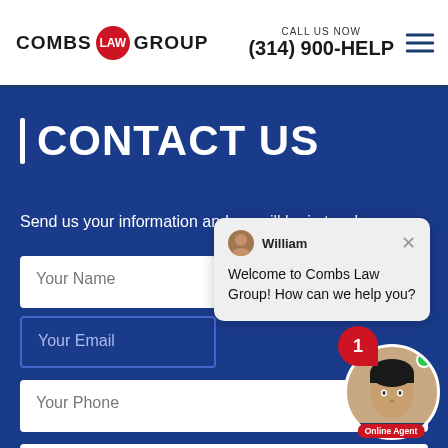COMBS LAW GROUP | CALL US NOW (314) 900-HELP
CONTACT US
Send us your information and we will be in touch.
Your Name
Your Email
Your Phone
How can we help you?
[Figure (screenshot): Chat popup with agent named William saying: Welcome to Combs Law Group! How can we help you? Notification badge showing 1 message. Online agent avatar with green dot and red Online Agent label.]